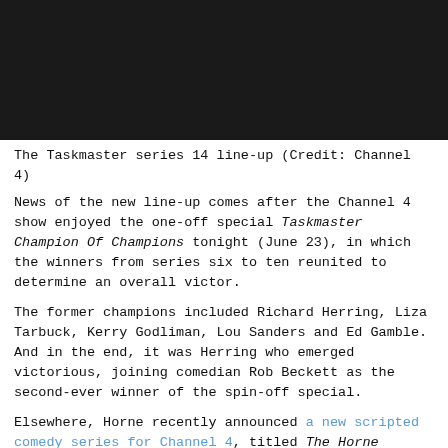[Figure (photo): Dark/nearly black photograph of the Taskmaster series 14 line-up]
The Taskmaster series 14 line-up (Credit: Channel 4)
News of the new line-up comes after the Channel 4 show enjoyed the one-off special Taskmaster Champion Of Champions tonight (June 23), in which the winners from series six to ten reunited to determine an overall victor.
The former champions included Richard Herring, Liza Tarbuck, Kerry Godliman, Lou Sanders and Ed Gamble. And in the end, it was Herring who emerged victorious, joining comedian Rob Beckett as the second-ever winner of the spin-off special.
Elsewhere, Horne recently announced a new scripted comedy series for Channel 4, titled The Horne Section TV Show.
The upcoming series is written by and star Horne alongside his band, The Horne Section.